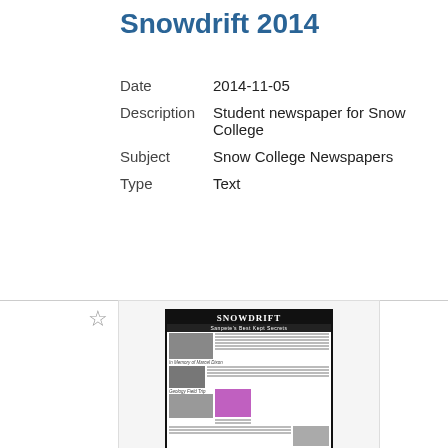Snowdrift 2014
| Date | 2014-11-05 |
| Description | Student newspaper for Snow College |
| Subject | Snow College Newspapers |
| Type | Text |
[Figure (photo): Thumbnail preview of the Snowdrift student newspaper front page, showing the SNOWDRIFT masthead and multiple newspaper articles with photographs]